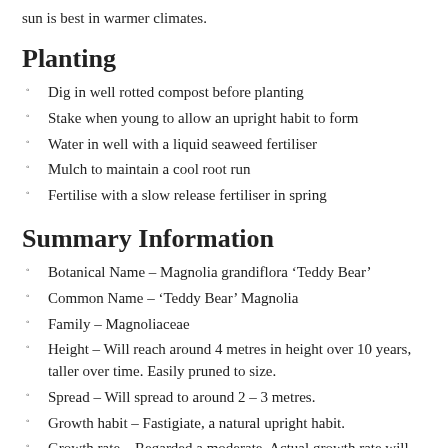sun is best in warmer climates.
Planting
Dig in well rotted compost before planting
Stake when young to allow an upright habit to form
Water in well with a liquid seaweed fertiliser
Mulch to maintain a cool root run
Fertilise with a slow release fertiliser in spring
Summary Information
Botanical Name – Magnolia grandiflora ‘Teddy Bear’
Common Name – ‘Teddy Bear’ Magnolia
Family – Magnoliaceae
Height – Will reach around 4 metres in height over 10 years, taller over time. Easily pruned to size.
Spread – Will spread to around 2 – 3 metres.
Growth habit – Fastigiate, a natural upright habit.
Growth rate – Regarded a moderate. Actual growth rate will depend on soil and climate. Faster growth in warmer climates